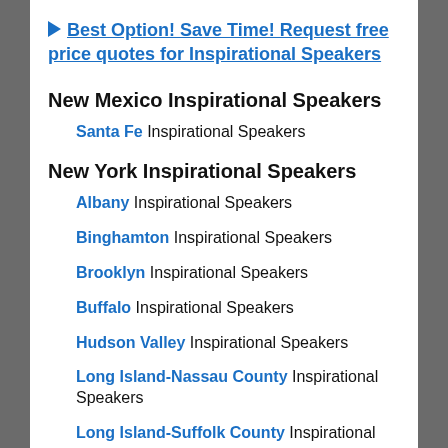▶ Best Option! Save Time! Request free price quotes for Inspirational Speakers
New Mexico Inspirational Speakers
Santa Fe Inspirational Speakers
New York Inspirational Speakers
Albany Inspirational Speakers
Binghamton Inspirational Speakers
Brooklyn Inspirational Speakers
Buffalo Inspirational Speakers
Hudson Valley Inspirational Speakers
Long Island-Nassau County Inspirational Speakers
Long Island-Suffolk County Inspirational